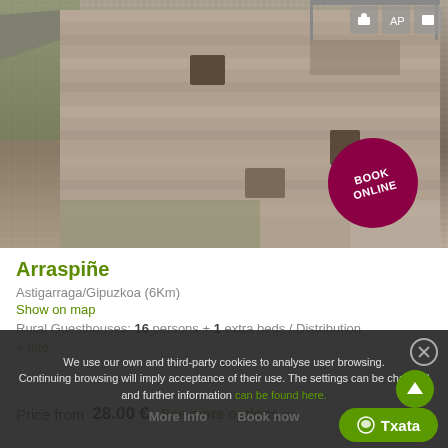[Figure (photo): Stone building / rural guesthouse exterior with a 'BOOK ONLINE' dark red circle badge overlaid on the bottom right of the photo]
Arraspiñe
Astigarraga/Gipuzkoa (6Km)
Show on map
Rural Guesthouses: 16 persons + 1 extra beds / Distribution
+ Info
Price from   28.00 €   See more options »
We use our own and third-party cookies to analyse user browsing. Continuing browsing will imply acceptance of their use. The settings can be changed and further information can be found here.